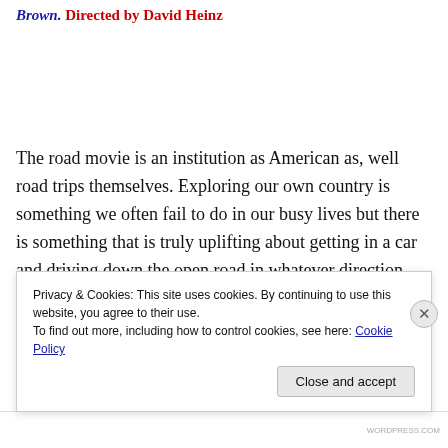Brown. Directed by David Heinz
The road movie is an institution as American as, well road trips themselves. Exploring our own country is something we often fail to do in our busy lives but there is something that is truly uplifting about getting in a car and driving down the open road in whatever direction you happen to
Privacy & Cookies: This site uses cookies. By continuing to use this website, you agree to their use.
To find out more, including how to control cookies, see here: Cookie Policy
Close and accept